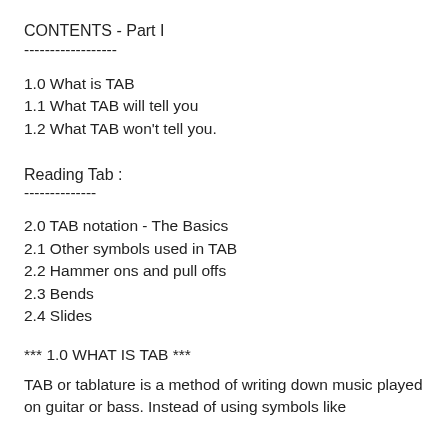CONTENTS - Part I
------------------
1.0 What is TAB
1.1 What TAB will tell you
1.2 What TAB won't tell you.
Reading Tab :
--------------
2.0 TAB notation - The Basics
2.1 Other symbols used in TAB
2.2 Hammer ons and pull offs
2.3 Bends
2.4 Slides
*** 1.0 WHAT IS TAB ***
TAB or tablature is a method of writing down music played on guitar or bass. Instead of using symbols like